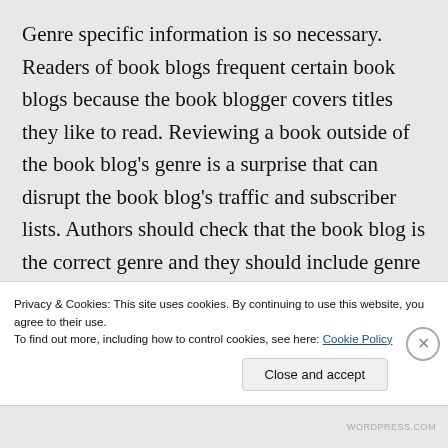Genre specific information is so necessary. Readers of book blogs frequent certain book blogs because the book blogger covers titles they like to read. Reviewing a book outside of the book blog's genre is a surprise that can disrupt the book blog's traffic and subscriber lists. Authors should check that the book blog is the correct genre and they should include genre information about their book in the query (e.g. NAME OF BOOK, 85,000 words...
Privacy & Cookies: This site uses cookies. By continuing to use this website, you agree to their use. To find out more, including how to control cookies, see here: Cookie Policy
Close and accept
WORDPRESS.COM